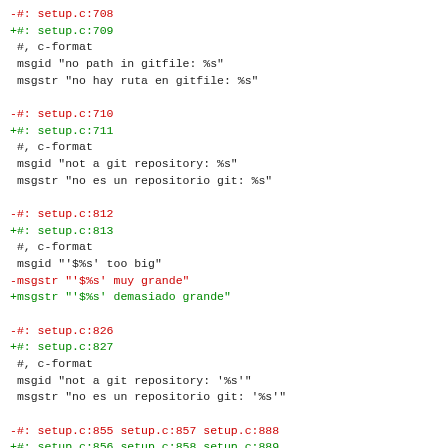-#: setup.c:708
+#: setup.c:709
 #, c-format
 msgid "no path in gitfile: %s"
 msgstr "no hay ruta en gitfile: %s"
-#: setup.c:710
+#: setup.c:711
 #, c-format
 msgid "not a git repository: %s"
 msgstr "no es un repositorio git: %s"
-#: setup.c:812
+#: setup.c:813
 #, c-format
 msgid "'$%s' too big"
-msgstr "'$%s' muy grande"
+msgstr "'$%s' demasiado grande"
-#: setup.c:826
+#: setup.c:827
 #, c-format
 msgid "not a git repository: '%s'"
 msgstr "no es un repositorio git: '%s'"
-#: setup.c:855 setup.c:857 setup.c:888
+#: setup.c:856 setup.c:858 setup.c:889
 #, c-format
 msgid "cannot chdir to '%s'"
 msgstr "no se puede aplicar chdir a '%s'"